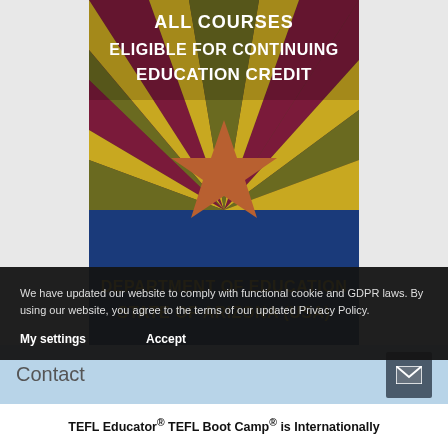[Figure (illustration): Arizona Department of Education promotional graphic featuring Arizona state flag rays (alternating maroon/gold/olive), a copper-colored star in the center on a blue background, with text 'ALL COURSES ELIGIBLE FOR CONTINUING EDUCATION CREDIT' at the top in white, and 'DEPARTMENT OF EDUCATION STATE OF ARIZONA (USA)' at the bottom in yellow.]
We have updated our website to comply with functional cookie and GDPR laws. By using our website, you agree to the terms of our updated Privacy Policy.
My settings   Accept
Contact
TEFL Educator® TEFL Boot Camp® is Internationally